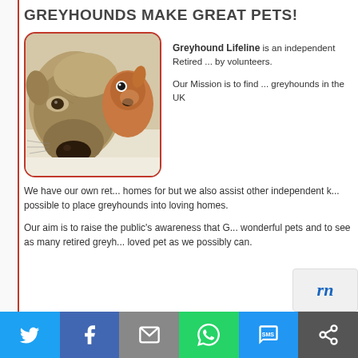GREYHOUNDS MAKE GREAT PETS!
[Figure (photo): Close-up photo of a greyhound dog lying next to a stuffed toy horse/dog, both resting on a light surface. The greyhound has a tan/brindle coat and a large nose prominent in the foreground.]
Greyhound Lifeline is an independent Retired ... by volunteers.
Our Mission is to find ... greyhounds in the UK
We have our own ret... homes for but we also assist other independent k... possible to place greyhounds into loving homes.
Our aim is to raise the public's awareness that G... wonderful pets and to see as many retired greyh... loved pet as we possibly can.